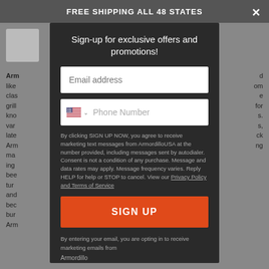FREE SHIPPING ALL 48 STATES
Sign-up for exclusive offers and promotions!
Email address
Phone Number
By clicking SIGN UP NOW, you agree to receive marketing text messages from ArmordilloUSA at the number provided, including messages sent by autodialer. Consent is not a condition of any purchase. Message and data rates may apply. Message frequency varies. Reply HELP for help or STOP to cancel. View our Privacy Policy and Terms of Service
SIGN UP
By entering your email, you are opting in to receive marketing emails from Armordillo